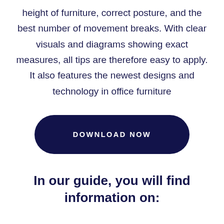height of furniture, correct posture, and the best number of movement breaks. With clear visuals and diagrams showing exact measures, all tips are therefore easy to apply. It also features the newest designs and technology in office furniture
[Figure (other): Dark navy rounded rectangle button with white uppercase text reading DOWNLOAD NOW]
In our guide, you will find information on: